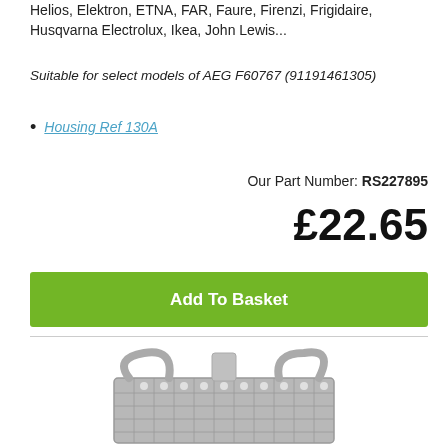Helios, Elektron, ETNA, FAR, Faure, Firenzi, Frigidaire, Husqvarna Electrolux, Ikea, John Lewis...
Suitable for select models of AEG F60767 (91191461305)
Housing Ref 130A
Our Part Number: RS227895
£22.65
Add To Basket
[Figure (photo): Grey plastic dishwasher cutlery basket with handles and mesh sides]